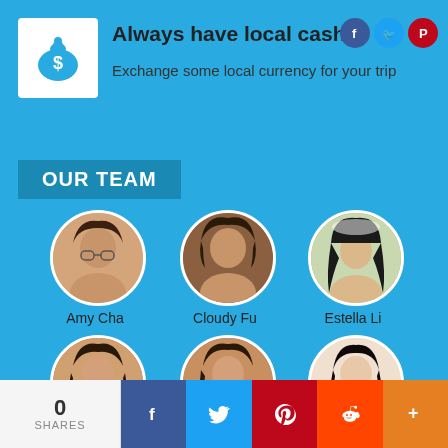[Figure (infographic): Blue background infographic about local cash with team member photos]
Always have local cash
Exchange some local currency for your trip
OUR TEAM
Amy Cha
Cloudy Fu
Estella Li
0 SHARES [Facebook] [Twitter] [Pinterest] [Reddit] [More]